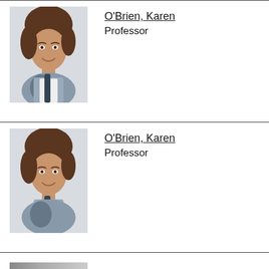[Figure (photo): Portrait photo of O'Brien, Karen - woman with short brown hair and scarf]
O'Brien, Karen
Professor
[Figure (photo): Portrait photo of O'Brien, Karen - same portrait, repeated entry]
O'Brien, Karen
Professor
[Figure (photo): Partial portrait photo of Rosenberg, Milda Nordbø - grayscale]
Rosenberg, Milda Nordbø